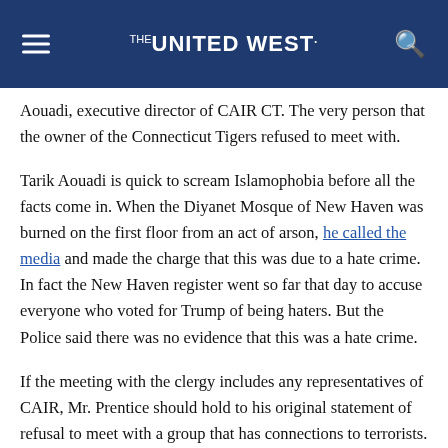THE UNITED WEST.
Aouadi, executive director of CAIR CT. The very person that the owner of the Connecticut Tigers refused to meet with.
Tarik Aouadi is quick to scream Islamophobia before all the facts come in. When the Diyanet Mosque of New Haven was burned on the first floor from an act of arson, he called the media and made the charge that this was due to a hate crime. In fact the New Haven register went so far that day to accuse everyone who voted for Trump of being haters. But the Police said there was no evidence that this was a hate crime.
If the meeting with the clergy includes any representatives of CAIR, Mr. Prentice should hold to his original statement of refusal to meet with a group that has connections to terrorists. There has never been evidence of bias by the